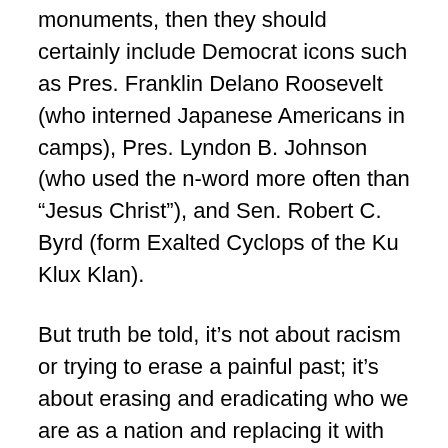monuments, then they should certainly include Democrat icons such as Pres. Franklin Delano Roosevelt (who interned Japanese Americans in camps), Pres. Lyndon B. Johnson (who used the n-word more often than “Jesus Christ”), and Sen. Robert C. Byrd (form Exalted Cyclops of the Ku Klux Klan).
But truth be told, it's not about racism or trying to erase a painful past; it's about erasing and eradicating who we are as a nation and replacing it with something radical, oppressive, atheistic, and Marxist.
Racism
How do I define racism? Well, I believe racism is the belief that one particular “race” is either superior or inferior to another. What racism is NOT is the preference for...